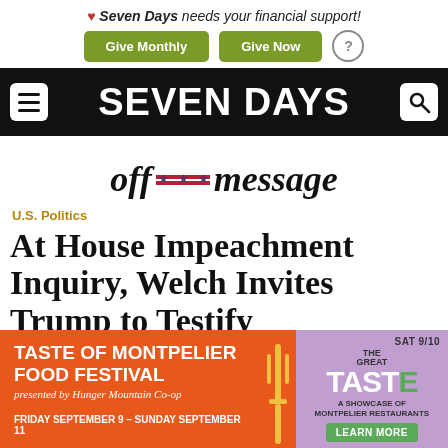❤ Seven Days needs your financial support! Give Monthly | Give Now
SEVEN DAYS
[Figure (logo): off===message logo with stars and stripes between 'off' and 'message']
U.S. Politics
At House Impeachment Inquiry, Welch Invites Trump to Testify
[Figure (infographic): Advertisement: TASTE OF MONTPELIER FOOD FESTIVAL presented by Hunger Mountain Co-op. FRIDAY SEPTEMBER 9 - SUNDAY SEPTEMBER 11. SAT 9/10 THE GREAT TASTE - A SHOWCASE OF MONTPELIER RESTAURANTS. LEARN MORE.]